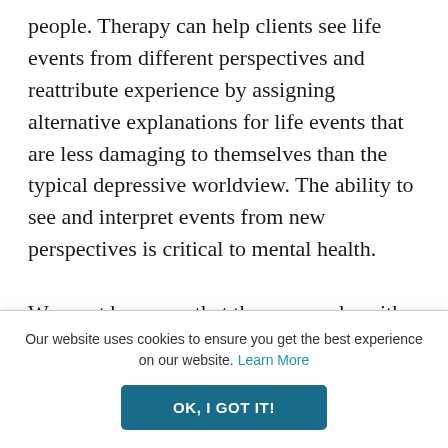people. Therapy can help clients see life events from different perspectives and reattribute experience by assigning alternative explanations for life events that are less damaging to themselves than the typical depressive worldview. The ability to see and interpret events from new perspectives is critical to mental health.

We must be aware that therapy works with depressed people because it draws on the clinical skills and adaptability required to
Our website uses cookies to ensure you get the best experience on our website. Learn More
OK, I GOT IT!